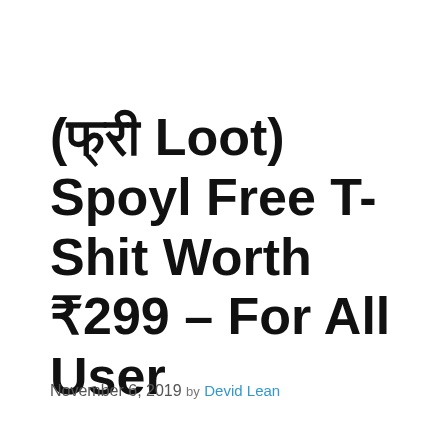(फ्री Loot) Spoyl Free T-Shit Worth ₹299 – For All User
November 6, 2019 by Devid Lean